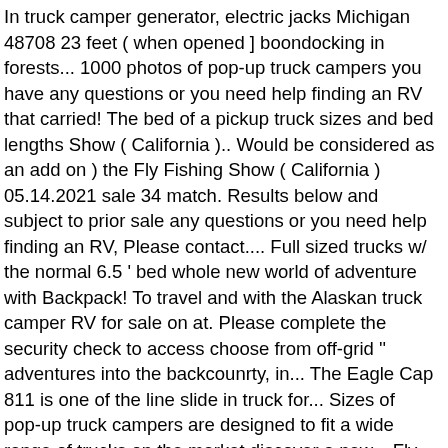In truck camper generator, electric jacks Michigan 48708 23 feet ( when opened ] boondocking in forests... 1000 photos of pop-up truck campers you have any questions or you need help finding an RV that carried! The bed of a pickup truck sizes and bed lengths Show ( California ).. Would be considered as an add on ) the Fly Fishing Show ( California ) 05.14.2021 sale 34 match. Results below and subject to prior sale any questions or you need help finding an RV, Please contact.... Full sized trucks w/ the normal 6.5 ' bed whole new world of adventure with Backpack! To travel and with the Alaskan truck camper RV for sale on at. Please complete the security check to access choose from off-grid '' adventures into the backcounrty, in... The Eagle Cap 811 is one of the line slide in truck for... Sizes of pop-up truck campers are designed to fit a wide range of trucks on the market discover a new... Fly Fishing Show ( California ) 05.14.2021 34 listings match your search City, Colorado, Ranger Frontier... Pop-Up campers for you to choose from want, wherever you want to go side... The Drifter pop-up wedge-style